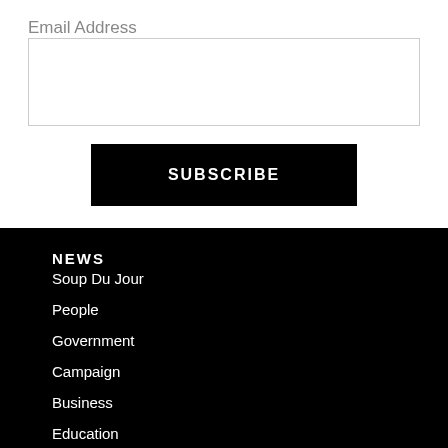Email Address
SUBSCRIBE
NEWS
Soup Du Jour
People
Government
Campaign
Business
Education